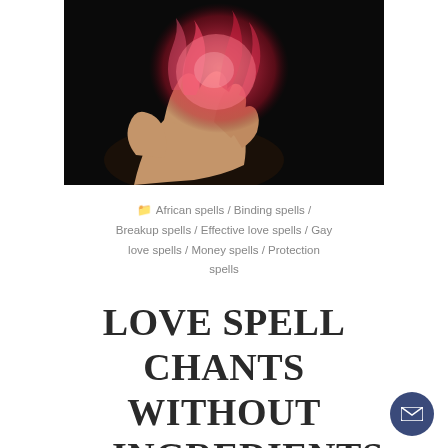[Figure (photo): A hand holding a glowing red heart-shaped flame against a dark black background]
African spells / Binding spells / Breakup spells / Effective love spells / Gay love spells / Money spells / Protection spells
LOVE SPELL CHANTS WITHOUT INGREDIENTS